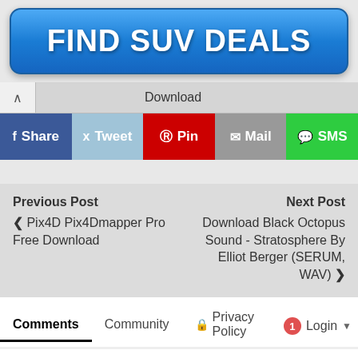[Figure (screenshot): Blue gradient 'FIND SUV DEALS' advertisement button]
Download
f Share   Tweet   Pin   Mail   SMS
Previous Post
< Pix4D Pix4Dmapper Pro Free Download
Next Post
Download Black Octopus Sound - Stratosphere By Elliot Berger (SERUM, WAV) >
Comments   Community   Privacy Policy   Login
Favorite  1   Sort by Newest
Join the discussion…